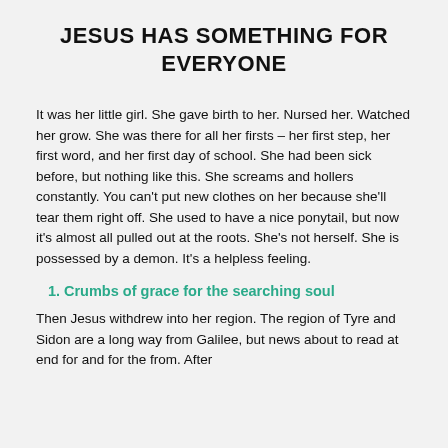JESUS HAS SOMETHING FOR EVERYONE
It was her little girl. She gave birth to her. Nursed her. Watched her grow. She was there for all her firsts – her first step, her first word, and her first day of school. She had been sick before, but nothing like this. She screams and hollers constantly. You can't put new clothes on her because she'll tear them right off. She used to have a nice ponytail, but now it's almost all pulled out at the roots. She's not herself. She is possessed by a demon. It's a helpless feeling.
Crumbs of grace for the searching soul
Then Jesus withdrew into her region. The region of Tyre and Sidon are a long way from Galilee, but news about to read at end for and for the from. After